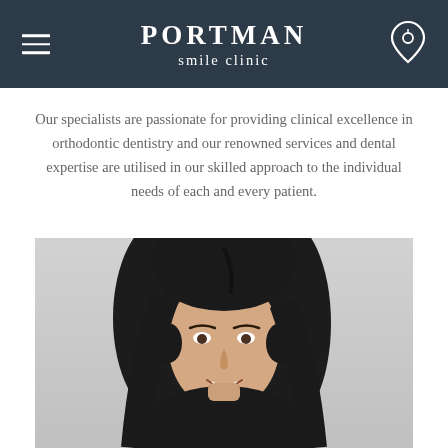Portman smile clinic
Our specialists are passionate for providing clinical excellence in orthodontic dentistry and our renowned services and dental expertise are utilised in our skilled approach to the individual needs of each and every patient.
[Figure (photo): Headshot of a smiling woman with long dark hair wearing a black top, against a light grey background.]